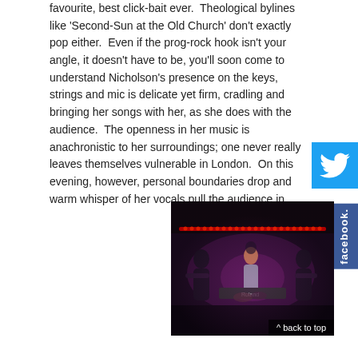favourite, best click-bait ever.  Theological bylines like 'Second-Sun at the Old Church' don't exactly pop either.  Even if the prog-rock hook isn't your angle, it doesn't have to be, you'll soon come to understand Nicholson's presence on the keys, strings and mic is delicate yet firm, cradling and bringing her songs with her, as she does with the audience.  The openness in her music is anachronistic to her surroundings; one never really leaves themselves vulnerable in London.  On this evening, however, personal boundaries drop and warm whisper of her vocals pull the audience in.
[Figure (photo): Band performing on a dimly lit stage with red LED lights along the top. Centre figure is a female singer/keyboardist at a Roland keyboard, flanked by guitarists on either side and a drummer in the back.]